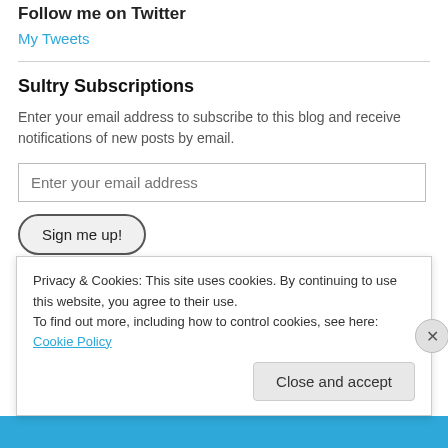Follow me on Twitter
My Tweets
Sultry Subscriptions
Enter your email address to subscribe to this blog and receive notifications of new posts by email.
Enter your email address
Sign me up!
Join 109 other followers
Privacy & Cookies: This site uses cookies. By continuing to use this website, you agree to their use.
To find out more, including how to control cookies, see here: Cookie Policy
Close and accept